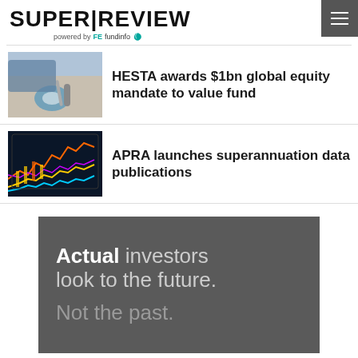[Figure (logo): Super Review logo powered by FE fundinfo]
HESTA awards $1bn global equity mandate to value fund
APRA launches superannuation data publications
[Figure (infographic): Advertisement banner: Actual investors look to the future. Not the past.]